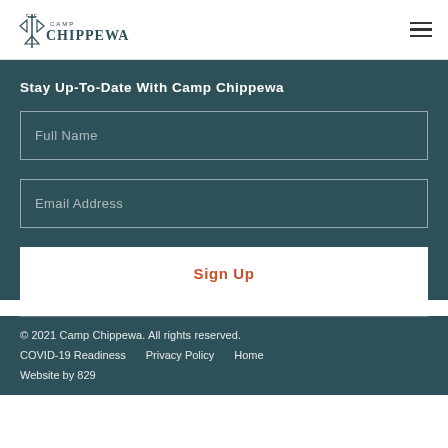[Figure (logo): Camp Chippewa logo with stylized axe and tree icon on left, 'CAMP CHIPPEWA' text on right]
Stay Up-To-Date With Camp Chippewa
Full Name
Email Address
Sign Up
© 2021 Camp Chippewa. All rights reserved.
COVID-19 Readiness   Privacy Policy   Home
Website by 829